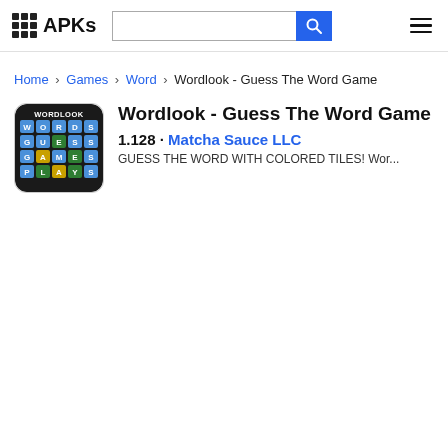APKs [search bar] [hamburger menu]
Home › Games › Word › Wordlook - Guess The Word Game
Wordlook - Guess The Word Game
1.128 · Matcha Sauce LLC
GUESS THE WORD WITH COLORED TILES! Wor...